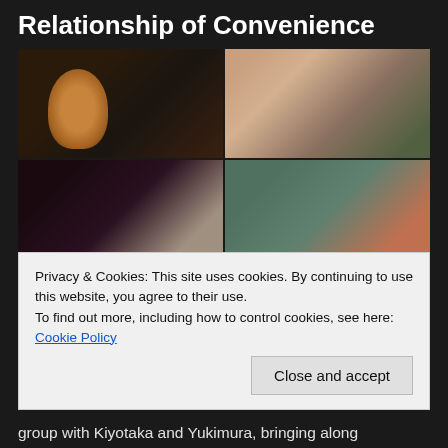Relationship of Convenience
[Figure (photo): Four anime screenshots arranged in a 2x2 grid showing characters from Classroom of the Elite in school uniforms]
Ryuuen agrees to feed Kikyou with the questions he
Privacy & Cookies: This site uses cookies. By continuing to use this website, you agree to their use.
To find out more, including how to control cookies, see here: Cookie Policy
group with Kiyotaka and Yukimura, bringing along